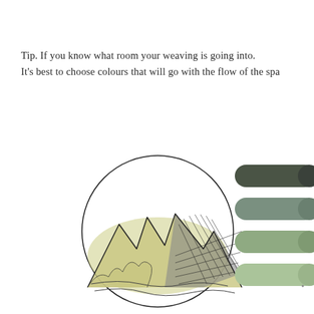Tip. If you know what room your weaving is going into. It's best to choose colours that will go with the flow of the spa
[Figure (illustration): A circular illustration of a mountain sketch (ink and watercolour, yellow-green mountain peaks with crosshatched dark rocky faces) alongside four watercolour paint swatches in varying shades of green-grey, from dark olive/charcoal at top to pale sage green at bottom.]